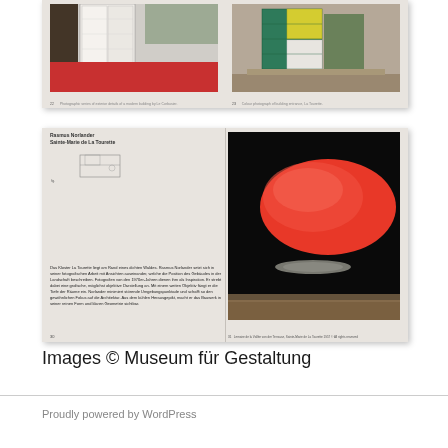[Figure (photo): Book spread showing two photographs side by side: left photo shows a doorway with red floor and Japanese-style sliding door panels; right photo shows colorful shutters/doors in green and yellow tones]
[Figure (photo): Book spread showing left page with text in German and a small diagram/sketch, right page with a photograph of a large red oval/ellipse shape against a black background with a narrow ledge]
Images © Museum für Gestaltung
Proudly powered by WordPress